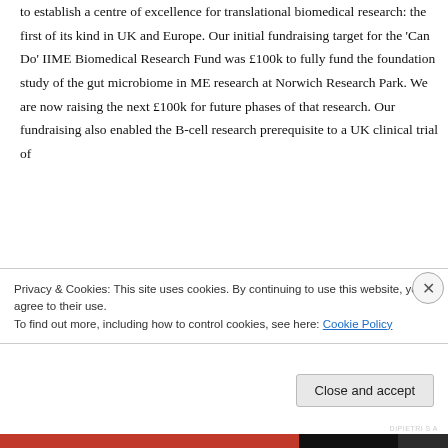to establish a centre of excellence for translational biomedical research: the first of its kind in UK and Europe. Our initial fundraising target for the 'Can Do' IIME Biomedical Research Fund was £100k to fully fund the foundation study of the gut microbiome in ME research at Norwich Research Park. We are now raising the next £100k for future phases of that research. Our fundraising also enabled the B-cell research prerequisite to a UK clinical trial of
Privacy & Cookies: This site uses cookies. By continuing to use this website, you agree to their use.
To find out more, including how to control cookies, see here: Cookie Policy
Close and accept
DIPIETRI S A